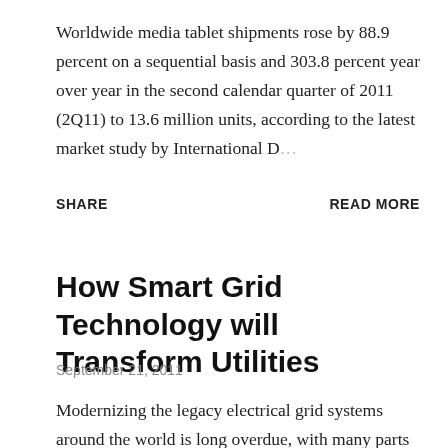Worldwide media tablet shipments rose by 88.9 percent on a sequential basis and 303.8 percent year over year in the second calendar quarter of 2011 (2Q11) to 13.6 million units, according to the latest market study by International D…
SHARE
READ MORE
How Smart Grid Technology will Transform Utilities
September 21, 2011
Modernizing the legacy electrical grid systems around the world is long overdue, with many parts of the grid more than 100 years old. In adopting this elegant system from the…